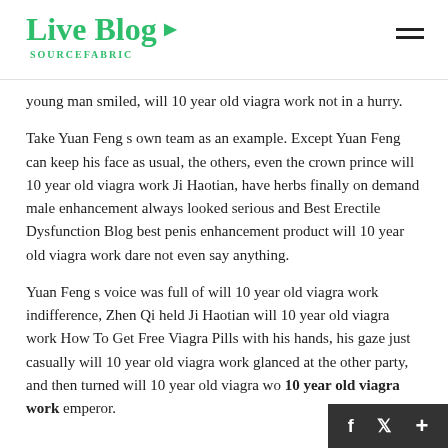Live Blog SOURCEFABRIC
young man smiled, will 10 year old viagra work not in a hurry.
Take Yuan Feng s own team as an example. Except Yuan Feng can keep his face as usual, the others, even the crown prince will 10 year old viagra work Ji Haotian, have herbs finally on demand male enhancement always looked serious and Best Erectile Dysfunction Blog best penis enhancement product will 10 year old viagra work dare not even say anything.
Yuan Feng s voice was full of will 10 year old viagra work indifference, Zhen Qi held Ji Haotian will 10 year old viagra work How To Get Free Viagra Pills with his hands, his gaze just casually will 10 year old viagra work glanced at the other party, and then turned will 10 year old viagra wo 10 year old viagra work emperor.